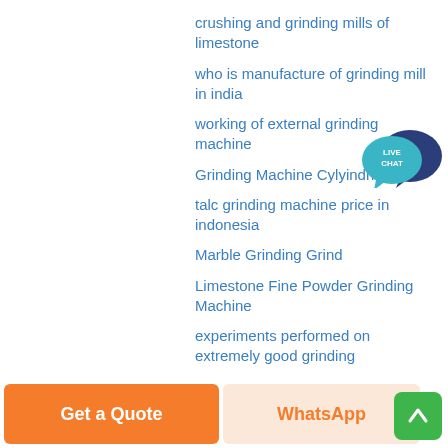crushing and grinding mills of limestone
who is manufacture of grinding mill in india
working of external grinding machine
Grinding Machine Cylyindrical
talc grinding machine price in indonesia
Marble Grinding Grind
Limestone Fine Powder Grinding Machine
experiments performed on extremely good grinding
to grinding the pet coke
cement grinding unit project report
marble pedestal grinding
doble grinding machine ds
[Figure (illustration): Live Chat speech bubble badge icon with dark blue and teal colors, text LIVE CHAT in white]
[Figure (illustration): Orange Get a Quote button]
[Figure (illustration): WhatsApp button with orange text on light peach background]
[Figure (illustration): Green scroll-to-top button with upward arrow]